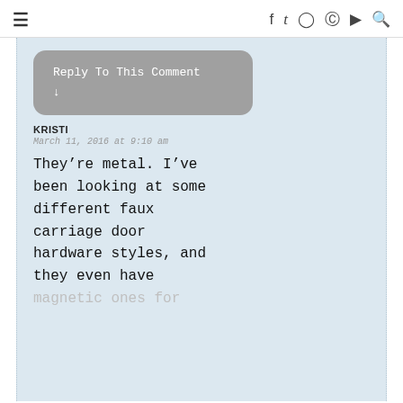≡  f  t  instagram  pinterest  youtube  search
[Figure (screenshot): Reply To This Comment button with down arrow, gray rounded rectangle UI element]
KRISTI
March 11, 2016 at 9:10 am
They're metal. I've been looking at some different faux carriage door hardware styles, and they even have magnetic ones for